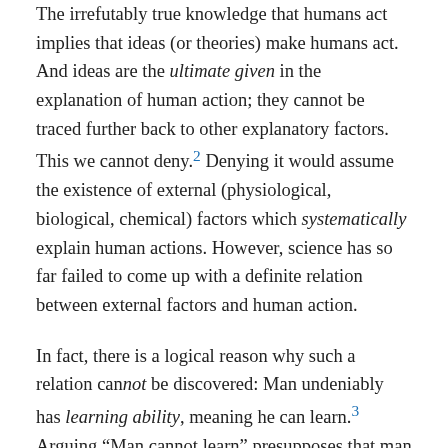The irrefutably true knowledge that humans act implies that ideas (or theories) make humans act. And ideas are the ultimate given in the explanation of human action; they cannot be traced further back to other explanatory factors. This we cannot deny.2 Denying it would assume the existence of external (physiological, biological, chemical) factors which systematically explain human actions. However, science has so far failed to come up with a definite relation between external factors and human action.
In fact, there is a logical reason why such a relation cannot be discovered: Man undeniably has learning ability, meaning he can learn.3 Arguing “Man cannot learn” presupposes that man can learn; otherwise one wouldn’t say anything to someone else; assuming the contrary would amount to a performative contradiction. And arguing that “Man can learn not to learn” runs into an outright logical contradiction. As we cannot reject